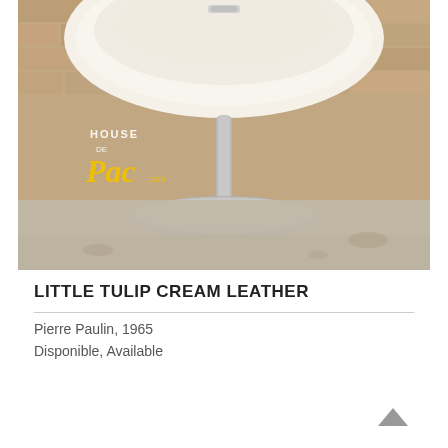[Figure (photo): A cream/white tulip chair with a round metallic pedestal base, photographed in front of an exposed brick wall on a concrete floor. Watermark reads HOUSE DE Pac .com in white and yellow text.]
LITTLE TULIP CREAM LEATHER
Pierre Paulin, 1965
Disponible, Available